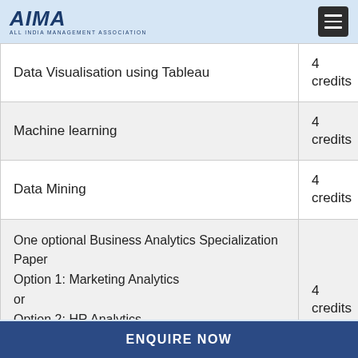AIMA - ALL INDIA MANAGEMENT ASSOCIATION
| Course | Credits |
| --- | --- |
| Data Visualisation using Tableau | 4 credits |
| Machine learning | 4 credits |
| Data Mining | 4 credits |
| One optional Business Analytics Specialization Paper
Option 1: Marketing Analytics
or
Option 2: HR Analytics
or
Option 3: Fraud Analytics | 4 credits |
ENQUIRE NOW